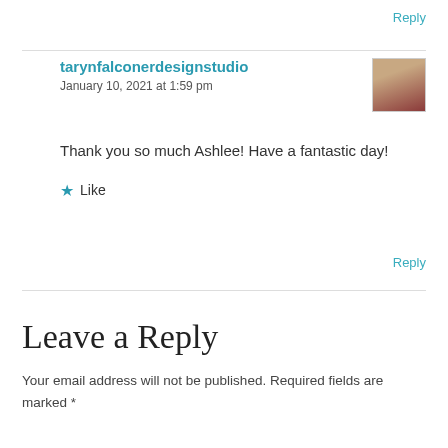Reply
tarynfalconerdesignstudio
January 10, 2021 at 1:59 pm
Thank you so much Ashlee! Have a fantastic day!
Like
Reply
Leave a Reply
Your email address will not be published. Required fields are marked *